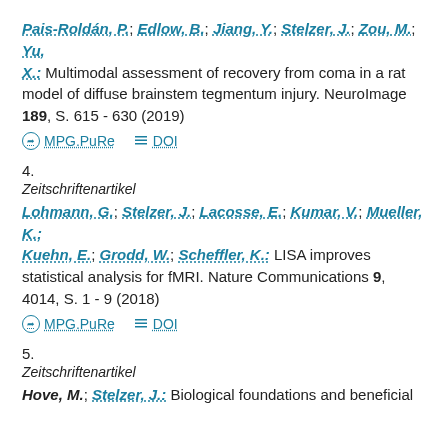Pais-Roldán, P.; Edlow, B.; Jiang, Y.; Stelzer, J.; Zou, M.; Yu, X.: Multimodal assessment of recovery from coma in a rat model of diffuse brainstem tegmentum injury. NeuroImage 189, S. 615 - 630 (2019)
4. Zeitschriftenartikel Lohmann, G.; Stelzer, J.; Lacosse, E.; Kumar, V.; Mueller, K.; Kuehn, E.; Grodd, W.; Scheffler, K.: LISA improves statistical analysis for fMRI. Nature Communications 9, 4014, S. 1 - 9 (2018)
5. Zeitschriftenartikel Hove, M.; Stelzer, J.: Biological foundations and beneficial